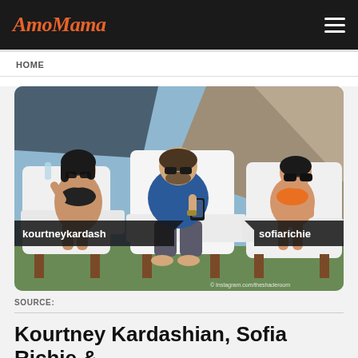AmoMama
HOME
[Figure (photo): Three people lounging on white outdoor chairs/loungers. On the left, a woman in a black bikini drinking from a bottle, labeled 'kourtneykardash'. In the center, a man in a blue shirt looking at his phone. On the right, a woman in an orange bikini wearing sunglasses, labeled 'sofiarichie'. Instagram watermark visible bottom right.]
SOURCE:
Kourtney Kardashian, Sofia Richie &